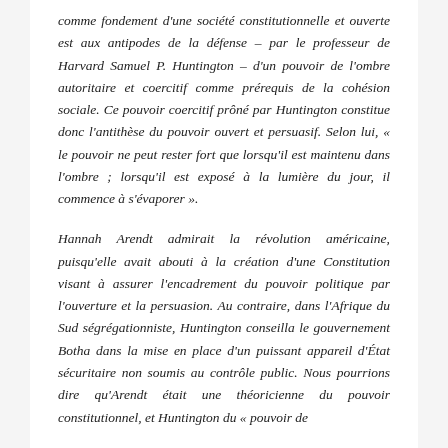comme fondement d'une société constitutionnelle et ouverte est aux antipodes de la défense – par le professeur de Harvard Samuel P. Huntington – d'un pouvoir de l'ombre autoritaire et coercitif comme prérequis de la cohésion sociale. Ce pouvoir coercitif prôné par Huntington constitue donc l'antithèse du pouvoir ouvert et persuasif. Selon lui, « le pouvoir ne peut rester fort que lorsqu'il est maintenu dans l'ombre ; lorsqu'il est exposé à la lumière du jour, il commence à s'évaporer ».
Hannah Arendt admirait la révolution américaine, puisqu'elle avait abouti à la création d'une Constitution visant à assurer l'encadrement du pouvoir politique par l'ouverture et la persuasion. Au contraire, dans l'Afrique du Sud ségrégationniste, Huntington conseilla le gouvernement Botha dans la mise en place d'un puissant appareil d'État sécuritaire non soumis au contrôle public. Nous pourrions dire qu'Arendt était une théoricienne du pouvoir constitutionnel, et Huntington du « pouvoir de